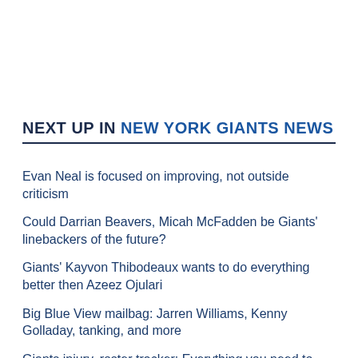NEXT UP IN NEW YORK GIANTS NEWS
Evan Neal is focused on improving, not outside criticism
Could Darrian Beavers, Micah McFadden be Giants' linebackers of the future?
Giants' Kayvon Thibodeaux wants to do everything better then Azeez Ojulari
Big Blue View mailbag: Jarren Williams, Kenny Golladay, tanking, and more
Giants injury, roster tracker: Everything you need to know
Giants roster moves: OL Chris Owens and Josh Rivas signed [Updated]